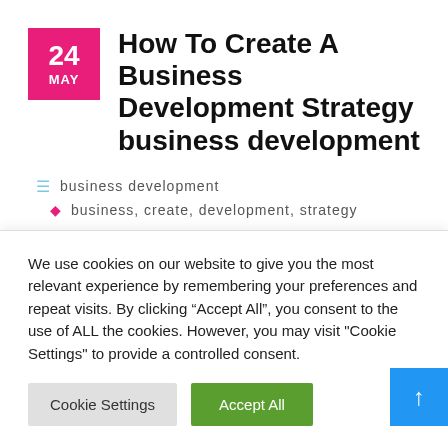How To Create A Business Development Strategy business development
business development
business, create, development, strategy
We use cookies on our website to give you the most relevant experience by remembering your preferences and repeat visits. By clicking “Accept All”, you consent to the use of ALL the cookies. However, you may visit "Cookie Settings" to provide a controlled consent.